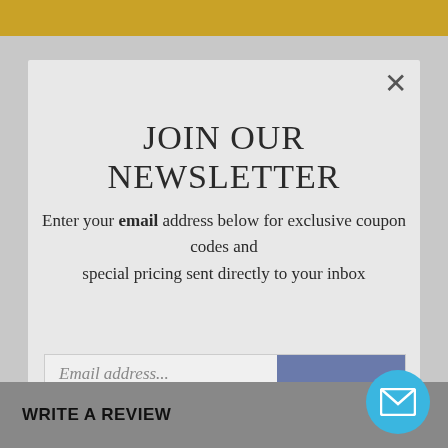[Figure (screenshot): Newsletter signup modal popup overlay on a website. Shows a light grey modal with close X button, 'JOIN OUR NEWSLETTER' heading, descriptive text about email address for coupon codes, an email input field with placeholder 'Email address...' and a blue-grey SUBMIT button. A pencil/pen diagonal overlay is visible. Background shows product info 'Colored Fluorescent Safety Show Our Price: $4.69'. Bottom has a grey bar with 'WRITE A REVIEW' text and a blue mail icon circle button.]
JOIN OUR NEWSLETTER
Enter your email address below for exclusive coupon codes and special pricing sent directly to your inbox
Email address...
SUBMIT
WRITE A REVIEW